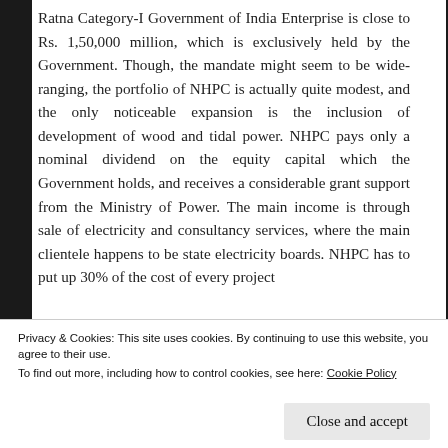Ratna Category-I Government of India Enterprise is close to Rs. 1,50,000 million, which is exclusively held by the Government. Though, the mandate might seem to be wide-ranging, the portfolio of NHPC is actually quite modest, and the only noticeable expansion is the inclusion of development of wood and tidal power. NHPC pays only a nominal dividend on the equity capital which the Government holds, and receives a considerable grant support from the Ministry of Power. The main income is through sale of electricity and consultancy services, where the main clientele happens to be state electricity boards. NHPC has to put up 30% of the cost of every project
Privacy & Cookies: This site uses cookies. By continuing to use this website, you agree to their use.
To find out more, including how to control cookies, see here: Cookie Policy
Close and accept
financed through debt. during the initial period of